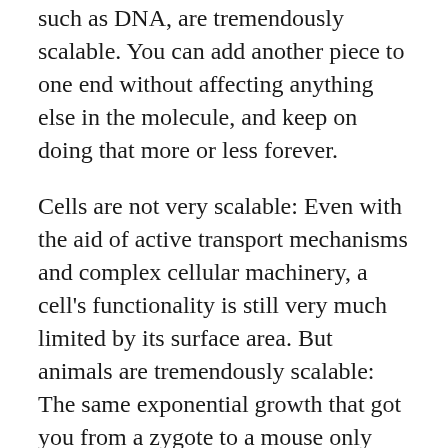such as DNA, are tremendously scalable. You can add another piece to one end without affecting anything else in the molecule, and keep on doing that more or less forever.
Cells are not very scalable: Even with the aid of active transport mechanisms and complex cellular machinery, a cell's functionality is still very much limited by its surface area. But animals are tremendously scalable: The same exponential growth that got you from a zygote to a mouse only needs to continue a couple years longer and it'll get you all the way to an elephant. (A baby elephant, anyway; an adult will require a dozen or so years—remarkably comparable to humans, in fact.)